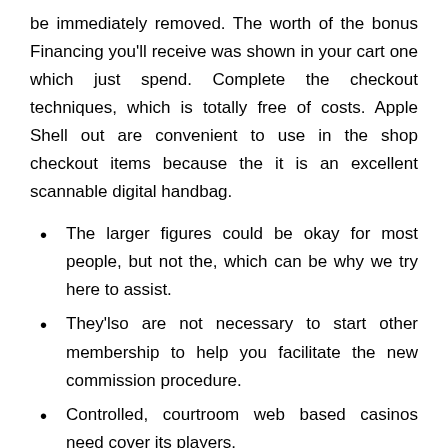be immediately removed. The worth of the bonus Financing you'll receive was shown in your cart one which just spend. Complete the checkout techniques, which is totally free of costs. Apple Shell out are convenient to use in the shop checkout items because the it is an excellent scannable digital handbag.
The larger figures could be okay for most people, but not the, which can be why we try here to assist.
They'lso are not necessary to start other membership to help you facilitate the new commission procedure.
Controlled, courtroom web based casinos need cover its players.
Sure enough, BC Games has gotten a part of that it growing trend and you can already computers more than 100+ live video game on the its program.
There are numerous constraints and you can intricacies regarding PayPal deposit casinos.